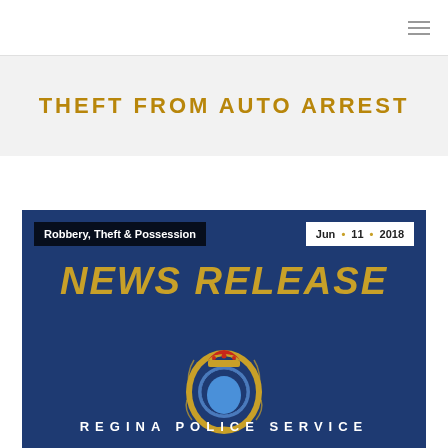≡ (navigation menu)
THEFT FROM AUTO ARREST
[Figure (infographic): Regina Police Service News Release banner image with dark blue background. Shows 'Robbery, Theft & Possession' category tag, date 'Jun • 11 • 2018', bold gold italic 'NEWS RELEASE' text, Regina Police Service badge/crest, and 'REGINA POLICE SERVICE' text at bottom.]